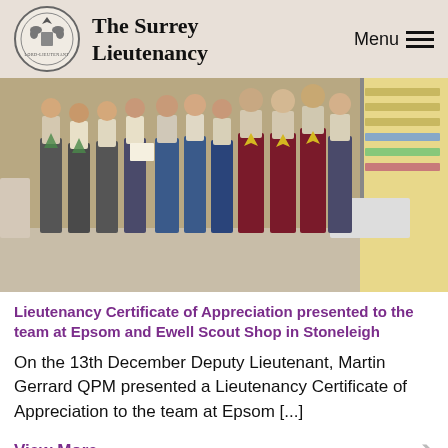The Surrey Lieutenancy
[Figure (photo): Group photo of people in scout uniforms and maroon jackets inside Epsom and Ewell Scout Shop in Stoneleigh, with some holding a certificate.]
Lieutenancy Certificate of Appreciation presented to the team at Epsom and Ewell Scout Shop in Stoneleigh
On the 13th December Deputy Lieutenant, Martin Gerrard QPM presented a Lieutenancy Certificate of Appreciation to the team at Epsom [...]
View More